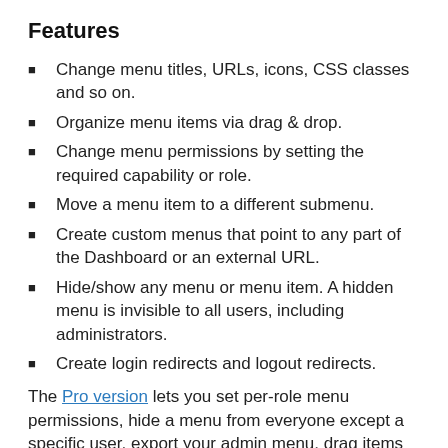Features
Change menu titles, URLs, icons, CSS classes and so on.
Organize menu items via drag & drop.
Change menu permissions by setting the required capability or role.
Move a menu item to a different submenu.
Create custom menus that point to any part of the Dashboard or an external URL.
Hide/show any menu or menu item. A hidden menu is invisible to all users, including administrators.
Create login redirects and logout redirects.
The Pro version lets you set per-role menu permissions, hide a menu from everyone except a specific user, export your admin menu, drag items between menu levels, make menus open in a new window, and more. To use it…